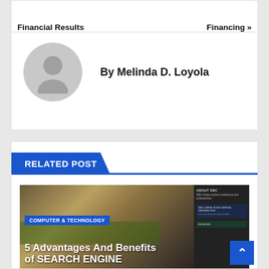Financial Results
Financing »
By Melinda D. Loyola
RELATED POST
COMPUTER & TECHNOLOGY
5 Advantages And Benefits of SEARCH ENGINE